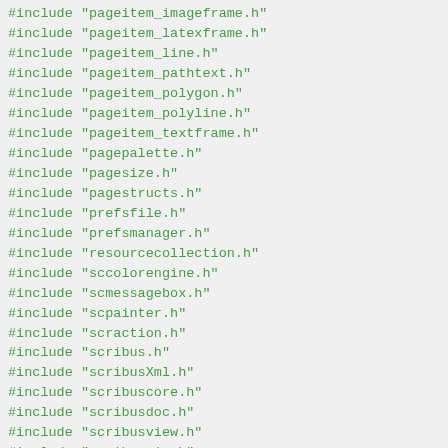#include "pageitem_imageframe.h"
#include "pageitem_latexframe.h"
#include "pageitem_line.h"
#include "pageitem_pathtext.h"
#include "pageitem_polygon.h"
#include "pageitem_polyline.h"
#include "pageitem_textframe.h"
#include "pagepalette.h"
#include "pagesize.h"
#include "pagestructs.h"
#include "prefsfile.h"
#include "prefsmanager.h"
#include "resourcecollection.h"
#include "sccolorengine.h"
#include "scmessagebox.h"
#include "scpainter.h"
#include "scraction.h"
#include "scribus.h"
#include "scribusXml.h"
#include "scribuscore.h"
#include "scribusdoc.h"
#include "scribusview.h"
#include "scribuswin.h"
#include "sclimits.h"
#include "selection.h"
#include "serializer.h"
#include "...